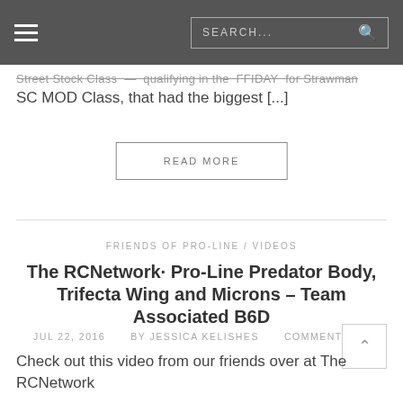SEARCH...
Street Stock Class – qualifying in the FFIDAY for Strawman SC MOD Class, that had the biggest [...]
READ MORE
FRIENDS OF PRO-LINE / VIDEOS
The RCNetwork· Pro-Line Predator Body, Trifecta Wing and Microns – Team Associated B6D
JUL 22, 2016   BY JESSICA KELISHES   COMMENTS (0)
Check out this video from our friends over at The RCNetwork